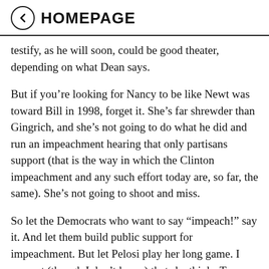HOMEPAGE
testify, as he will soon, could be good theater, depending on what Dean says.
But if you’re looking for Nancy to be like Newt was toward Bill in 1998, forget it. She’s far shrewder than Gingrich, and she’s not going to do what he did and run an impeachment hearing that only partisans support (that is the way in which the Clinton impeachment and any such effort today are, so far, the same). She’s not going to shoot and miss.
So let the Democrats who want to say “impeach!” say it. And let them build public support for impeachment. But let Pelosi play her long game. I suspect (though I don’t know) that she thinks Trump totally deserves to be impeached, but she’s not going to do it until she is seen as